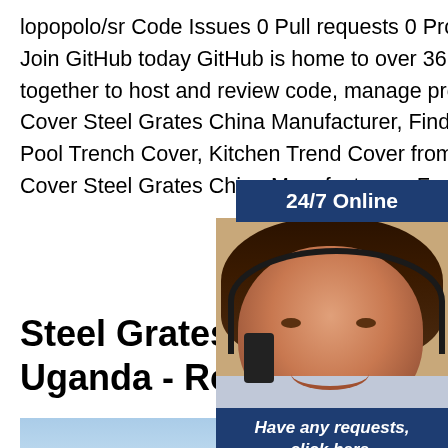lopopolo/sr Code Issues 0 Pull requests 0 Projects 0 Security Insights Dismiss Join GitHub today GitHub is home to over 36 million developers working together to host and review code, manage projects, and;Floor Drain Grate Cover Steel Grates China Manufacturer, Find details about China Swimming Pool Trench Cover, Kitchen Trend Cover from Floor Drain Grate Cover Steel Grates China Manufacturer - Foshan Import & Export Co., Ltd.
[Figure (infographic): 24/7 Online support widget with a customer service agent photo, 'Have any requests, click here.' text and a Quotation button]
Steel Grates For Driveways C Uganda - Royce
[Figure (photo): Photo of a steel grate driveway/road surface with sky in the background]
Steel Grates Fo... Company Uga... For Driveways ...Uganda. Watch 1 Star 2 Fork 4 lopopolo/sr Code Issues 0 Pull